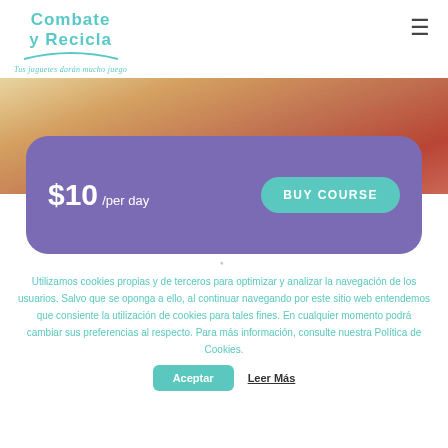Combate y Recicla – Tus juguetes darán mucho juego
[Figure (screenshot): Website screenshot showing logo, hero image with children, price card ($10/per day) with BUY COURSE button, and cookie consent banner]
Utilizamos cookies propias y de terceros para optimizar y analizar la navegación de los usuarios. Salvo que se oponga a ello, al continuar navegando por este sitio web entendemos que consiente la utilización de cookies para tales fines. En cualquier momento podrá cambiar sus preferencias al respecto. Para más información, consulte nuestra Política de Cookies.
Aceptar
Leer Más